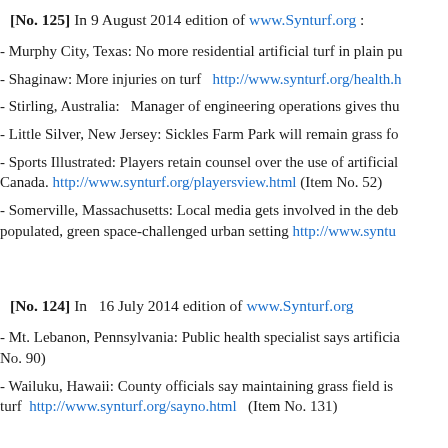[No. 125] In 9 August 2014 edition of www.Synturf.org :
- Murphy City, Texas: No more residential artificial turf in plain pu
- Shaginaw: More injuries on turf  http://www.synturf.org/health.h
- Stirling, Australia:  Manager of engineering operations gives thu
- Little Silver, New Jersey: Sickles Farm Park will remain grass fo
- Sports Illustrated: Players retain counsel over the use of artificial Canada. http://www.synturf.org/playersview.html (Item No. 52)
- Somerville, Massachusetts: Local media gets involved in the deb populated, green space-challenged urban setting http://www.syntu
[No. 124] In  16 July 2014 edition of www.Synturf.org
- Mt. Lebanon, Pennsylvania: Public health specialist says artificia No. 90)
- Wailuku, Hawaii: County officials say maintaining grass field is turf  http://www.synturf.org/sayno.html  (Item No. 131)